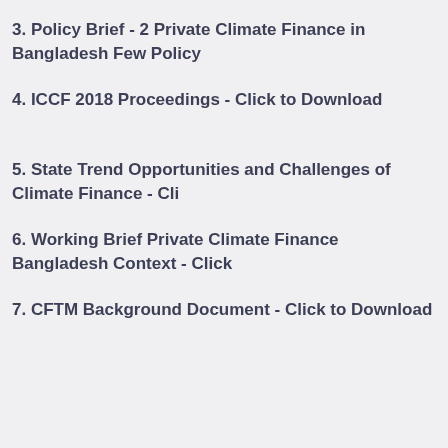3. Policy Brief - 2 Private Climate Finance in Bangladesh Few Policy
4. ICCF 2018 Proceedings - Click to Download
5. State Trend Opportunities and Challenges of Climate Finance - Cli
6. Working Brief Private Climate Finance Bangladesh Context - Click
7. CFTM Background Document - Click to Download